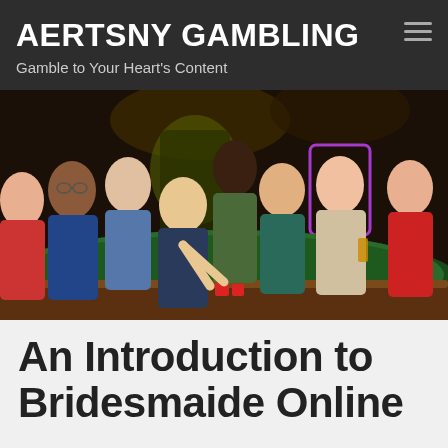AERTSNY GAMBLING
Gamble to Your Heart's Content
[Figure (photo): Group of people smiling and having fun around a casino craps table with colorful casino lights in the background]
An Introduction to Bridesmaide Online